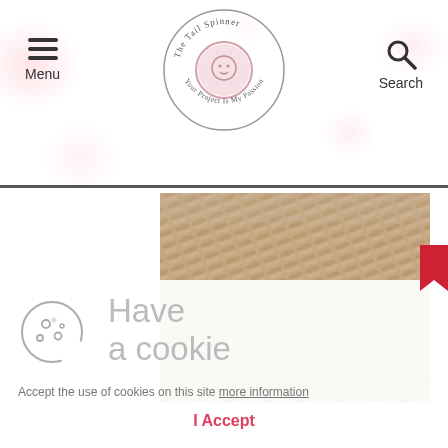The Tail Spinner — Your Project is My Passion
[Figure (photo): Close-up photo of tan/beige textured yarn or knitted fabric]
[Figure (infographic): Cookie consent overlay with cookie icon, 'Have a cookie' heading, acceptance text, and I Accept button]
Have a cookie
Accept the use of cookies on this site more information
I Accept